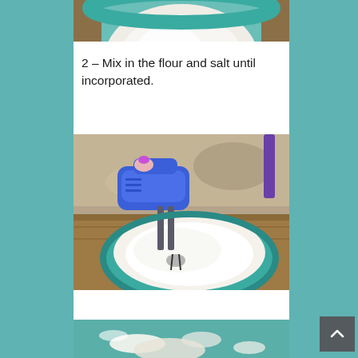[Figure (photo): Top portion of a green mixing bowl with white dough/flour mixture visible from above, on a wooden surface]
2 – Mix in the flour and salt until incorporated.
[Figure (photo): A blue hand mixer being used to mix flour in a green mixing bowl on a wooden surface, with a person's hand with purple nail polish holding the mixer]
[Figure (photo): Partial view of flour or dough on a green surface, bottom of page]